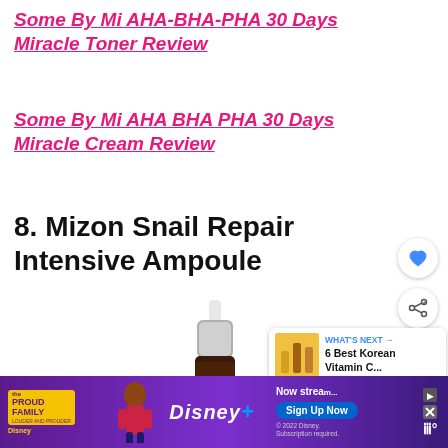Some By Mi AHA-BHA-PHA 30 Days Miracle Toner Review
Some By Mi AHA BHA PHA 30 Days Miracle Cream Review
8. Mizon Snail Repair Intensive Ampoule
[Figure (photo): Partial view of Mizon Snail Repair Intensive Ampoule product bottle, dark glass dropper bottle with silver cap]
[Figure (screenshot): What's Next card showing 6 Best Korean Vitamin C... with thumbnail of bottles]
[Figure (infographic): Disney+ ad banner for The Proud Family streaming, with Sign Up Now button]